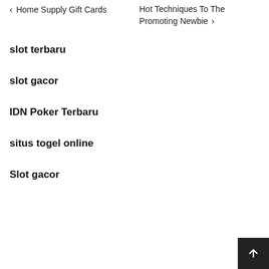❮ Home Supply Gift Cards    Hot Techniques To The Promoting Newbie ❯
slot terbaru
slot gacor
IDN Poker Terbaru
situs togel online
Slot gacor